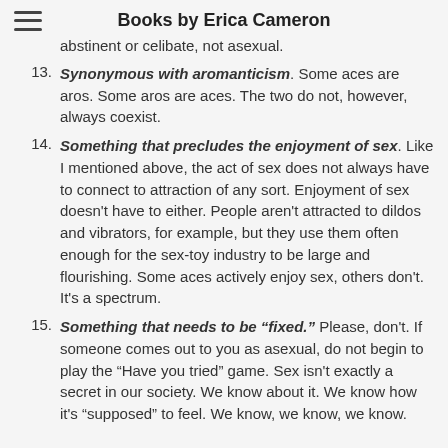Books by Erica Cameron
abstinent or celibate, not asexual.
13. Synonymous with aromanticism. Some aces are aros. Some aros are aces. The two do not, however, always coexist.
14. Something that precludes the enjoyment of sex. Like I mentioned above, the act of sex does not always have to connect to attraction of any sort. Enjoyment of sex doesn't have to either. People aren't attracted to dildos and vibrators, for example, but they use them often enough for the sex-toy industry to be large and flourishing. Some aces actively enjoy sex, others don't. It's a spectrum.
15. Something that needs to be “fixed.” Please, don't. If someone comes out to you as asexual, do not begin to play the “Have you tried” game. Sex isn't exactly a secret in our society. We know about it. We know how it's “supposed” to feel. We know, we know, we know.